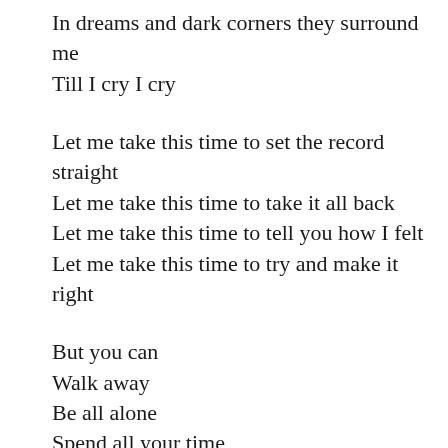In dreams and dark corners they surround me
Till I cry I cry
Let me take this time to set the record straight
Let me take this time to take it all back
Let me take this time to tell you how I felt
Let me take this time to try and make it right
But you can
Walk away
Be all alone
Spend all your time
Thinking about the way things used to be
If love feels right
You work it out
You don’t give it up
But